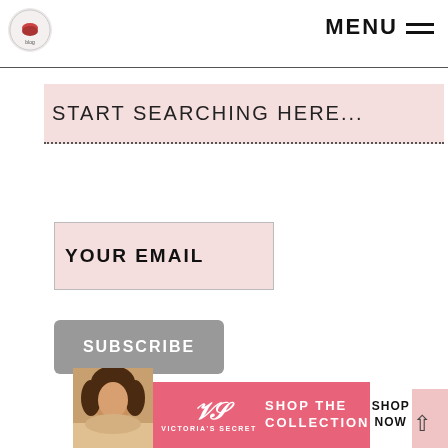[Figure (logo): Circular blog/website logo in top left corner]
MENU
START SEARCHING HERE...
YOUR EMAIL
SUBSCRIBE
CLOSE
[Figure (photo): Victoria's Secret advertisement banner with model photo, VS logo, SHOP THE COLLECTION text, and SHOP NOW button]